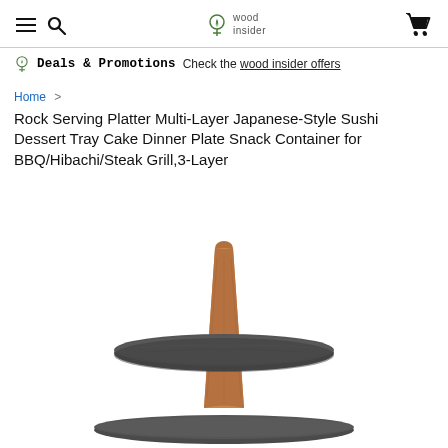wood insider (nav: hamburger, search, cart)
Deals & Promotions Check the wood insider offers
Home > Rock Serving Platter Multi-Layer Japanese-Style Sushi Dessert Tray Cake Dinner Plate Snack Container for BBQ/Hibachi/Steak Grill,3-Layer
[Figure (photo): Multi-layer rock/slate and wood serving platter, 3-layer design with wooden central spindle and round dark stone/slate trays visible from the top, photographed against white background]